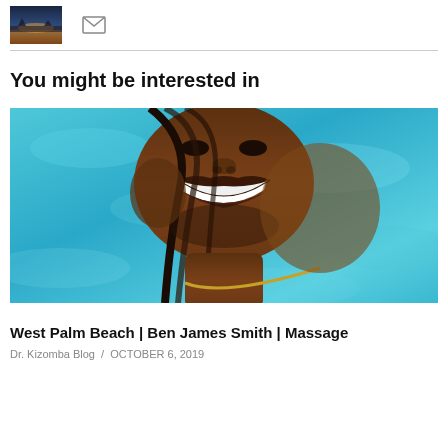[Figure (photo): Small thumbnail photo of a sunset/landscape scene with dark silhouette and orange sky, and an envelope icon next to it]
You might be interested in
[Figure (photo): Close-up photo of a smiling Black man with braids and a gold chain necklace, against a blue water/pool background]
West Palm Beach | Ben James Smith | Massage
Dr. Kizomba Blog  /  OCTOBER 6, 2019